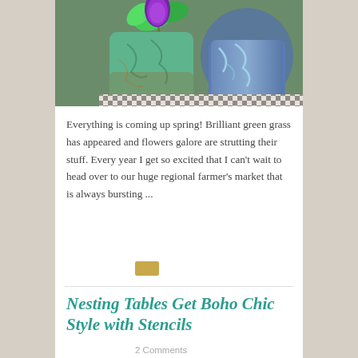[Figure (photo): Decorative painted terracotta pots with a purple flower and green leaves, in teal/verdigris and blue painted styles on a patterned surface]
Everything is coming up spring! Brilliant green grass has appeared and flowers galore are strutting their stuff. Every year I get so excited that I can't wait to head over to our huge regional farmer's market that is always bursting ...
Nesting Tables Get Boho Chic Style with Stencils
2 Comments
[Figure (photo): Boho chic styled nesting tables with stencil decoration, books, small sculptures, and a ball of twine]